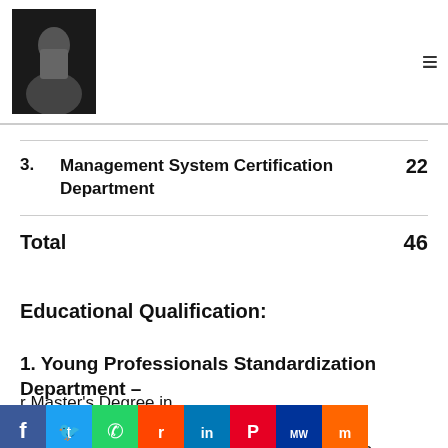[Figure (photo): Header with a dark photo of a person on left and hamburger menu icon on right]
| No. | Department | Count |
| --- | --- | --- |
| 3. | Management System Certification Department | 22 |
| Total |  | 46 |
Educational Qualification:
1. Young Professionals Standardization Department –
r Master's Degree in Metallurgical Engineering Desirable: Higher Qualifications /Research Experience/ Published Papers
[Figure (infographic): Social media share buttons bar: Facebook, Twitter, WhatsApp, Reddit, LinkedIn, Pinterest, MeWe, Mix, Buffer, Pinterest Save, Xing Share, Yum, Tweet, LinkedIn SHARE, Reddit, up/down arrows, plus button]